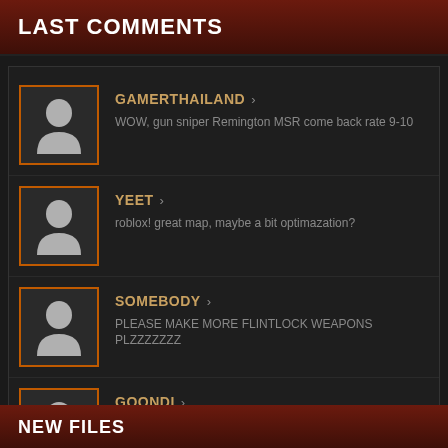LAST COMMENTS
GAMERTHAILAND > WOW, gun sniper Remington MSR come back rate 9-10
YEET > roblox! great map, maybe a bit optimazation?
SOMEBODY > PLEASE MAKE MORE FLINTLOCK WEAPONS PLZZZZZZZ
GOONDI > Alright. everyone here is a f*cking ar*e.
NEW FILES